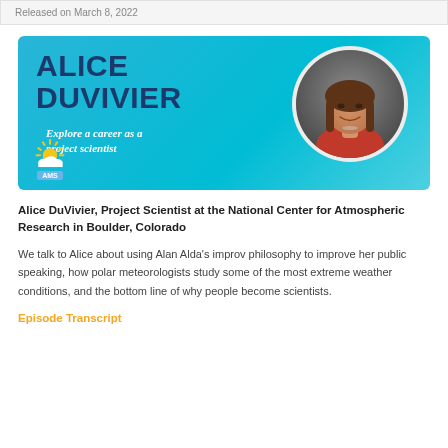Released on March 8, 2022
[Figure (illustration): Blue banner card with 'ALICE DUVIVIER' in dark navy bold text, italic white subtitle 'Explore a career as a project scientist', AMS logo (sun over clouds) bottom left, and circular portrait photo of Alice DuVivier on the right.]
Alice DuVivier, Project Scientist at the National Center for Atmospheric Research in Boulder, Colorado
We talk to Alice about using Alan Alda's improv philosophy to improve her public speaking, how polar meteorologists study some of the most extreme weather conditions, and the bottom line of why people become scientists.
Episode Transcript